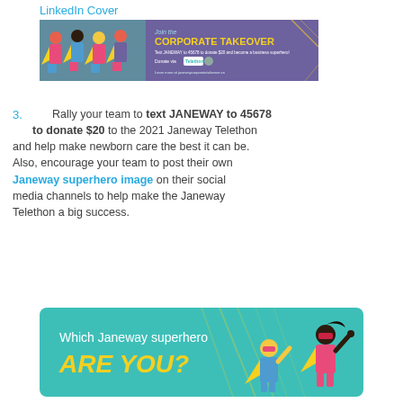LinkedIn Cover
[Figure (illustration): LinkedIn Cover banner for Janeway Corporate Takeover campaign showing cartoon superhero children and text 'Join the CORPORATE TAKEOVER. Text JANEWAY to 45678 to donate $20 and become a business superhero! Donate via Telethon. Learn more at janewaycorporatetakeover.ca']
Rally your team to text JANEWAY to 45678 to donate $20 to the 2021 Janeway Telethon and help make newborn care the best it can be. Also, encourage your team to post their own Janeway superhero image on their social media channels to help make the Janeway Telethon a big success.
[Figure (illustration): Promotional banner with teal background showing two cartoon superhero children and text 'Which Janeway superhero ARE YOU?' in yellow and white.]